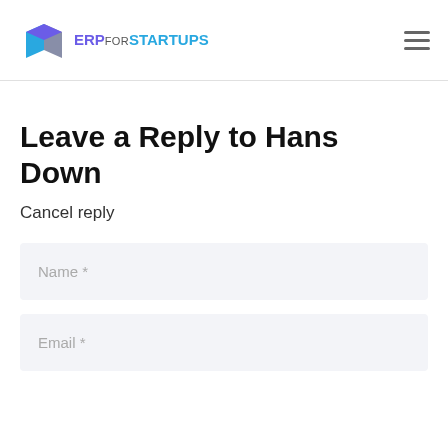[Figure (logo): ERP for Startups logo with a 3D geometric cube icon in purple/blue and the text 'ERP FOR STARTUPS']
Leave a Reply to Hans Down
Cancel reply
Name *
Email *